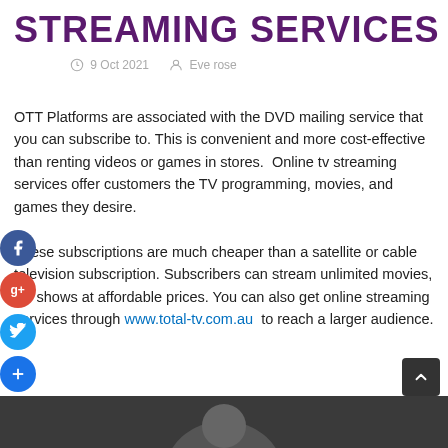STREAMING SERVICES
9 Oct 2021   Eve rose
OTT Platforms are associated with the DVD mailing service that you can subscribe to. This is convenient and more cost-effective than renting videos or games in stores.  Online tv streaming services offer customers the TV programming, movies, and games they desire.
These subscriptions are much cheaper than a satellite or cable television subscription. Subscribers can stream unlimited movies, TV shows at affordable prices. You can also get online streaming services through www.total-tv.com.au  to reach a larger audience.
[Figure (photo): Partial photo visible at bottom of page, appears to show a person or subject, mostly cropped]